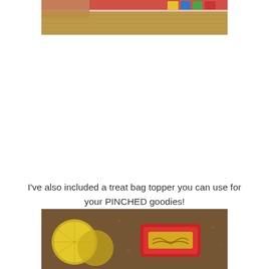[Figure (photo): Partial photo at top showing a Monopoly-style board game and colorful game pieces on a carpet surface, cropped at top.]
I've also included a treat bag topper you can use for your PINCHED goodies!
Just print, cut out and fold in half.
[Figure (photo): Partial photo at bottom showing gold foil chocolate coins and a red candy/treat package on a textured surface.]